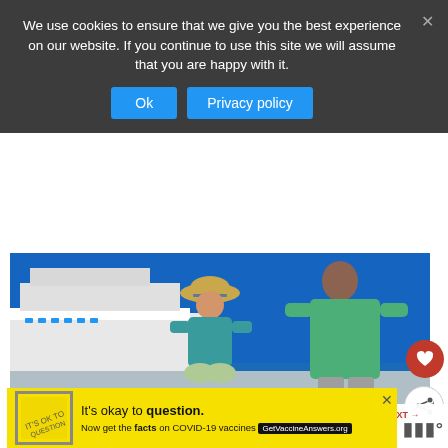We use cookies to ensure that we give you the best experience on our website. If you continue to use this site we will assume that you are happy with it.
Ok
Privacy policy
[Figure (photo): Two people (a child wearing a straw hat and teal shirt, and a taller person in a green shirt) sitting and looking at a large cruise ship. Watermark: WWW.THETINYBOOK.COM]
WHAT'S NEXT → Gorgeous Vacation...
[Figure (photo): Advertisement: It's okay to question. Now get the facts on COVID-19 vaccines. GetVaccineAnswers.org]